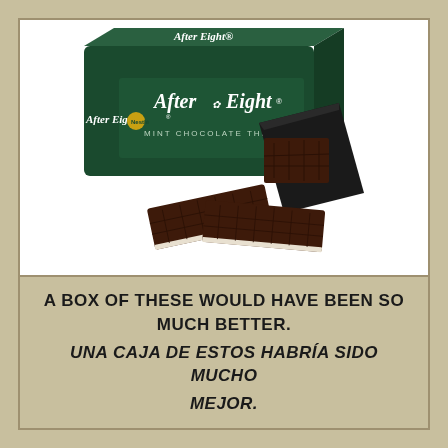[Figure (photo): After Eight Mint Chocolate Thins product photo showing the dark green box with white script logo, with individual chocolate thins and a black envelope wrapper displayed in front]
A BOX OF THESE WOULD HAVE BEEN SO MUCH BETTER.
UNA CAJA DE ESTOS HABRÍA SIDO MUCHO MEJOR.